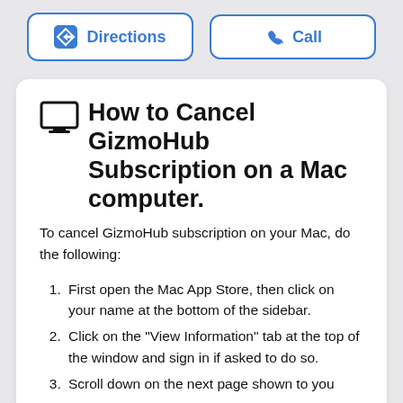[Figure (screenshot): Two buttons: a blue 'Directions' button with a navigation diamond icon on the left, and a 'Call' button with a phone icon on the right, on a light grey background.]
How to Cancel GizmoHub Subscription on a Mac computer.
To cancel GizmoHub subscription on your Mac, do the following:
First open the Mac App Store, then click on your name at the bottom of the sidebar.
Click on the "View Information" tab at the top of the window and sign in if asked to do so.
Scroll down on the next page shown to you